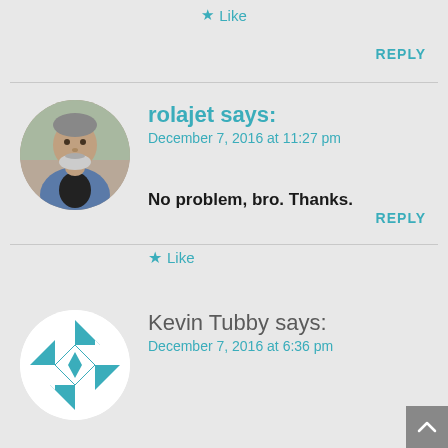★ Like
REPLY
[Figure (photo): Circular avatar photo of rolajet: an older man with grey beard and hair, wearing a denim jacket, outdoors.]
rolajet says:
December 7, 2016 at 11:27 pm
No problem, bro. Thanks.
★ Like
REPLY
[Figure (illustration): Circular avatar with teal and white geometric diamond/chevron pattern for Kevin Tubby.]
Kevin Tubby says:
December 7, 2016 at 6:36 pm